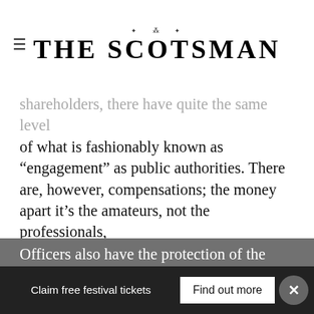THE SCOTSMAN
shareholders, there have quite the same level of what is fashionably known as “engagement” as public authorities. There are, however, compensations; the money apart it’s the amateurs, not the professionals, who have to explain what the hell is going on, and in the court of public opinion it’s the politicians who get it in the neck first when things go wrong.
Officers also have the protection of the Standards Commission which largely prevents
Claim free festival tickets  |  Find out more